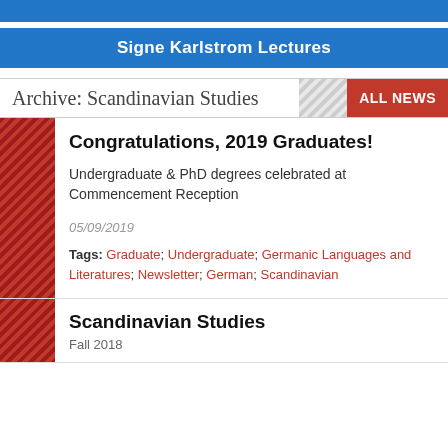Signe Karlstrom Lectures
Archive: Scandinavian Studies
Congratulations, 2019 Graduates!
Undergraduate & PhD degrees celebrated at Commencement Reception
05/09/2019
Tags: Graduate; Undergraduate; Germanic Languages and Literatures; Newsletter; German; Scandinavian
Scandinavian Studies
Fall 2018